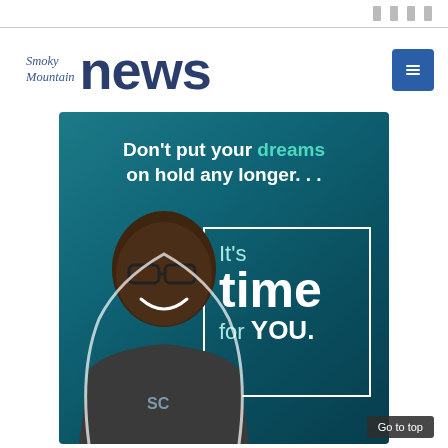Smoky Mountain News — header with navigation icons
[Figure (logo): Smoky Mountain News logo with 'Smoky Mountain' in italic serif and 'news' in large bold sans-serif, dark blue color]
[Figure (infographic): Advertisement with teal/dark background showing a smiling man and text: Don't put your dreams on hold any longer... It's time for YOU. SCC logo on jacket.]
Go to top